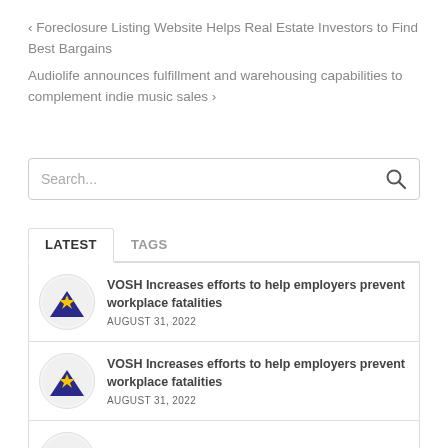< Foreclosure Listing Website Helps Real Estate Investors to Find Best Bargains
Audiolife announces fulfillment and warehousing capabilities to complement indie music sales >
[Figure (other): Search input box with magnifying glass icon]
LATEST  TAGS
VOSH Increases efforts to help employers prevent workplace fatalities — AUGUST 31, 2022
VOSH Increases efforts to help employers prevent workplace fatalities — AUGUST 31, 2022
The Joy Factory and Augmentir Partner to Offer AI